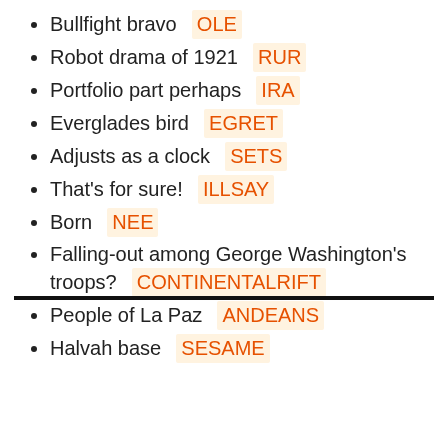Bullfight bravo  OLE
Robot drama of 1921  RUR
Portfolio part perhaps  IRA
Everglades bird  EGRET
Adjusts as a clock  SETS
That's for sure!  ILLSAY
Born  NEE
Falling-out among George Washington's troops?  CONTINENTALRIFT
People of La Paz  ANDEANS
Halvah base  SESAME